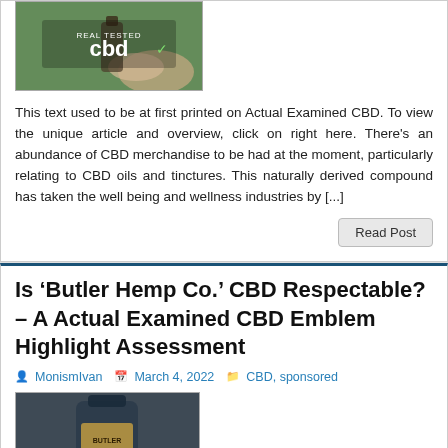[Figure (photo): CBD product image with 'Real Tested CBD' branding and logo]
This text used to be at first printed on Actual Examined CBD. To view the unique article and overview, click on right here. There's an abundance of CBD merchandise to be had at the moment, particularly relating to CBD oils and tinctures. This naturally derived compound has taken the well being and wellness industries by [...]
Read Post
Is ‘Butler Hemp Co.’ CBD Respectable? – A Actual Examined CBD Emblem Highlight Assessment
MonismIvan  March 4, 2022  CBD, sponsored
[Figure (photo): Butler Hemp Co. CBD product label image with 'Real Tested CBD Reviews' branding]